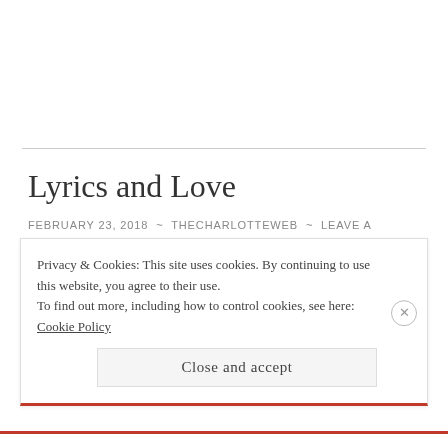Lyrics and Love
FEBRUARY 23, 2018 ~ THECHARLOTTEWEB ~ LEAVE A COMMENT
Privacy & Cookies: This site uses cookies. By continuing to use this website, you agree to their use.
To find out more, including how to control cookies, see here: Cookie Policy
Close and accept